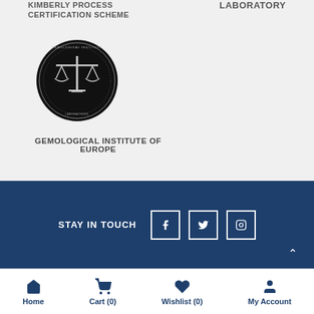KIMBERLY PROCESS CERTIFICATION SCHEME
LABORATORY
[Figure (logo): Circular black seal logo of the Gemological Institute of Europe featuring a scales of justice symbol]
GEMOLOGICAL INSTITUTE OF EUROPE
STAY IN TOUCH
Home  Cart (0)  Wishlist (0)  My Account